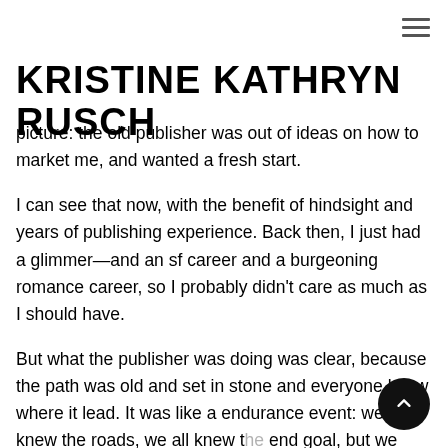☰
KRISTINE KATHRYN RUSCH
picture: the old publisher was out of ideas on how to market me, and wanted a fresh start.
I can see that now, with the benefit of hindsight and years of publishing experience. Back then, I just had a glimmer—and an sf career and a burgeoning romance career, so I probably didn't care as much as I should have.
But what the publisher was doing was clear, because the path was old and set in stone and everyone knew where it lead. It was like a endurance event: we all knew the roads, we all knew the end goal, but we couldn't always make it with the support staf